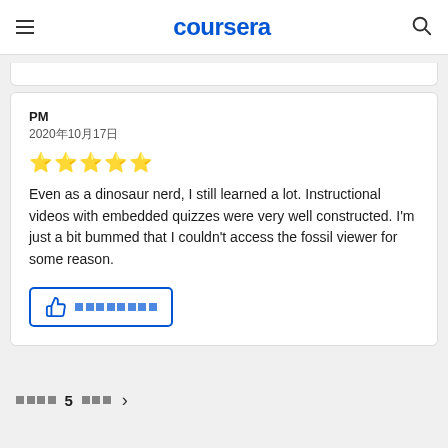coursera
PM
2020年10月17日
★★★★★
Even as a dinosaur nerd, I still learned a lot. Instructional videos with embedded quizzes were very well constructed. I'm just a bit bummed that I couldn't access the fossil viewer for some reason.
👍 [helpful button with squares]
[squares] 5 [squares] >